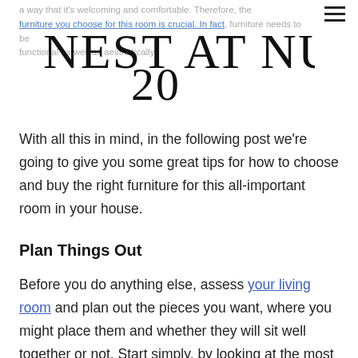a way that it's welcoming and comfortable. Therefore, the furniture you choose for this room is crucial. In fact, furniture needs to be functional as well as aesthetically appealing.
NEST AT NUMBER 20
With all this in mind, in the following post we're going to give you some great tips for how to choose and buy the right furniture for this all-important room in your house.
Plan Things Out
Before you do anything else, assess your living room and plan out the pieces you want, where you might place them and whether they will sit well together or not. Start simply, by looking at the most basic pieces first. Are you going to have a table in the centre? What kind of sofas are you going